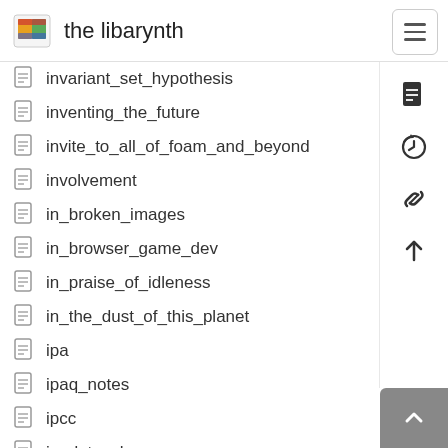the libarynth
invariant_set_hypothesis
inventing_the_future
invite_to_all_of_foam_and_beyond
involvement
in_broken_images
in_browser_game_dev
in_praise_of_idleness
in_the_dust_of_this_planet
ipa
ipaq_notes
ipcc
ipod_touch
irreal_review
isaac_newton
isabel_rocamora
isea2012
isea2012_complexity_panel
isea2012_energy_panel